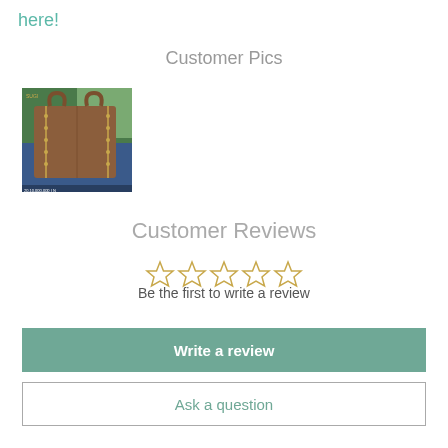here!
Customer Pics
[Figure (photo): Customer photo of a brown leather tote bag with studded trim, held by a person wearing jeans, with green foliage in background.]
Customer Reviews
[Figure (other): Five empty/outline gold stars rating display]
Be the first to write a review
Write a review
Ask a question